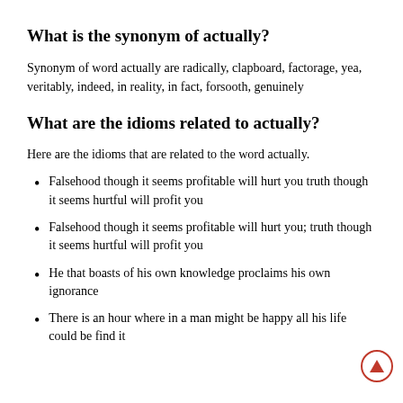What is the synonym of actually?
Synonym of word actually are radically, clapboard, factorage, yea, veritably, indeed, in reality, in fact, forsooth, genuinely
What are the idioms related to actually?
Here are the idioms that are related to the word actually.
Falsehood though it seems profitable will hurt you truth though it seems hurtful will profit you
Falsehood though it seems profitable will hurt you; truth though it seems hurtful will profit you
He that boasts of his own knowledge proclaims his own ignorance
There is an hour where in a man might be happy all his life could be find it